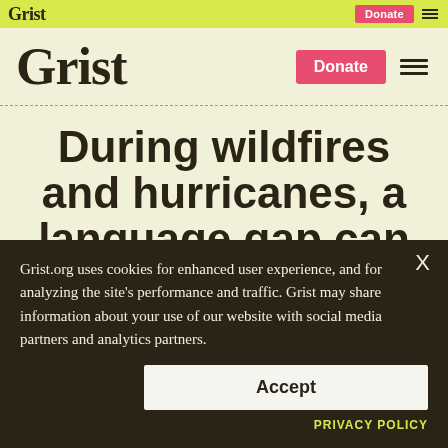Grist | Donate | ☰
Grist | Donate | ☰
During wildfires and hurricanes, a language gap can be
Grist.org uses cookies for enhanced user experience, and for analyzing the site's performance and traffic. Grist may share information about your use of our website with social media partners and analytics partners.
Accept
PRIVACY POLICY